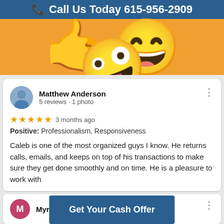Call Us Today 615-956-2909
[Figure (illustration): Large winking face with OK hand gesture emoji on orange background]
Matthew Anderson
5 reviews · 1 photo
★★★★★ 3 months ago
Positive: Professionalism, Responsiveness
Caleb is one of the most organized guys I know. He returns calls, emails, and keeps on top of his transactions to make sure they get done smoothly and on time. He is a pleasure to work with
Get Your Cash Offer
Myrna G